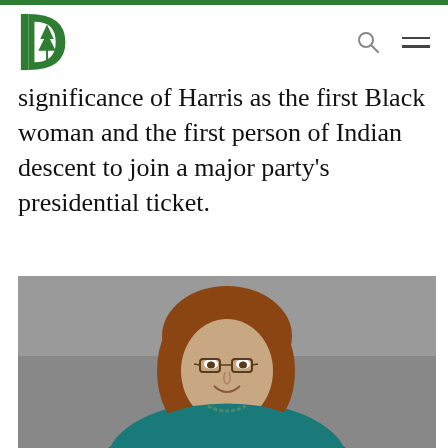Dartmouth College navigation header with logo
significance of Harris as the first Black woman and the first person of Indian descent to join a major party's presidential ticket.
[Figure (photo): Professional headshot of a woman with shoulder-length brown hair and glasses, wearing a teal top and beaded necklace, smiling against a grey background]